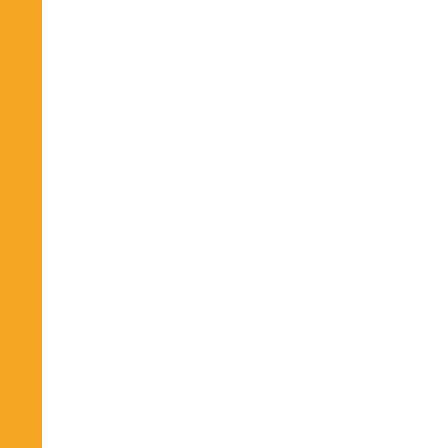| No. | Date | Title |
| --- | --- | --- |
| 37. | 18/06/2022 | Postponed o... |
| 38. | 17/06/2022 | Press Releas... |
| 39. | 14/06/2022 | Revised sche... 2nd & 4th Ju... |
| 40. | 02/06/2022 | Press Releas... |
| 41. | 01/06/2022 | Press Releas... Integrated co... |
| 42. | 30/05/2022 | Schedule for... JUNE 2022 |
| 43. | 26/05/2022 | Revised sche... |
| 44. | 26/05/2022 | Press Releas... |
| 45. | 16/05/2022 | Quotation fo... for the Cond... |
| 46. | 20/04/2022 | Revised Sch... |
| 47. | 20/04/2022 | Grant of Gol... UG courses ... onwards |
| 48. | 08/04/2022 | Revised Sch... |
| 49. | 05/04/2022 | Circular rega... |
| 50. | 25/03/2022 | Revised sch... |